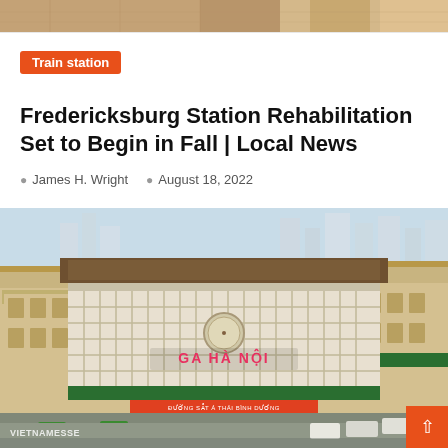[Figure (photo): Partial top image strip showing wooden or earthy texture at the top of the page]
Train station
Fredericksburg Station Rehabilitation Set to Begin in Fall | Local News
James H. Wright   August 18, 2022
[Figure (photo): Photograph of Ga Ha Noi (Hanoi Train Station) building facade with large decorative white lattice grid pattern, pink neon sign reading 'GA HA NOI', cars and taxis parked in front, city skyline in background]